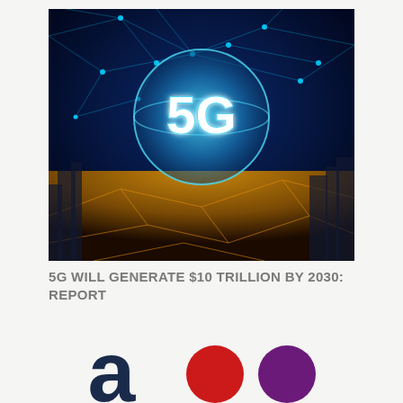[Figure (photo): Aerial night cityscape with glowing 5G globe hologram in the center, surrounded by network connection lines on a dark blue background]
5G WILL GENERATE $10 TRILLION BY 2030: REPORT
[Figure (logo): Three logos partially visible at the bottom: a dark navy lowercase 'a' letter logo on the left, a red circle logo in the center, and a purple circle logo on the right]